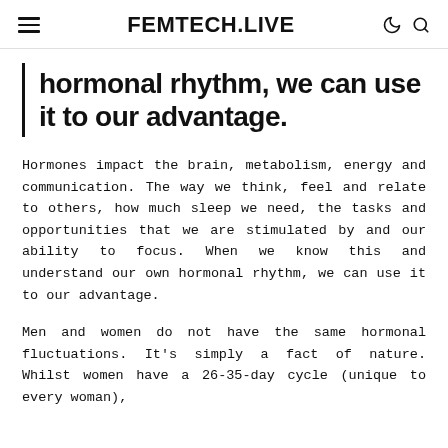FEMTECH.LIVE
hormonal rhythm, we can use it to our advantage.
Hormones impact the brain, metabolism, energy and communication. The way we think, feel and relate to others, how much sleep we need, the tasks and opportunities that we are stimulated by and our ability to focus. When we know this and understand our own hormonal rhythm, we can use it to our advantage.
Men and women do not have the same hormonal fluctuations. It's simply a fact of nature. Whilst women have a 26-35-day cycle (unique to every woman),